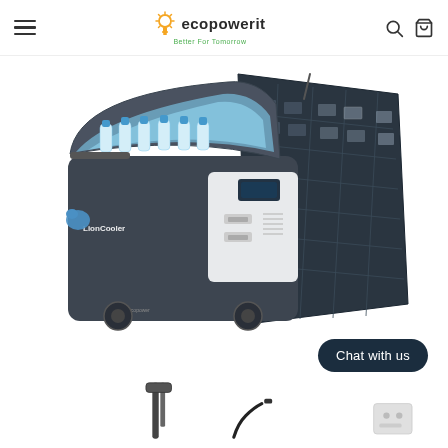ecopowerit — Better For Tomorrow
[Figure (photo): LionCooler portable electric cooler with built-in battery and solar panel attached, open lid showing water bottles inside, with wheels, on a white background. Product is a dark gray/charcoal and white color. A foldable solar panel is propped open on the right side.]
[Figure (photo): Bottom portion of product page showing accessories: a telescoping handle/trolley accessory, a power cable, and a power outlet adapter, partially visible at the bottom of the page.]
Chat with us